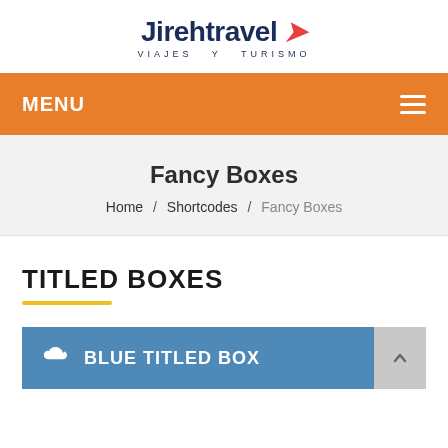[Figure (logo): Jireh Travel logo with stylized text 'Jirehtravel' and red arrow, subtitle 'VIAJES Y TURISMO']
MENU
Fancy Boxes
Home / Shortcodes / Fancy Boxes
TITLED BOXES
BLUE TITLED BOX